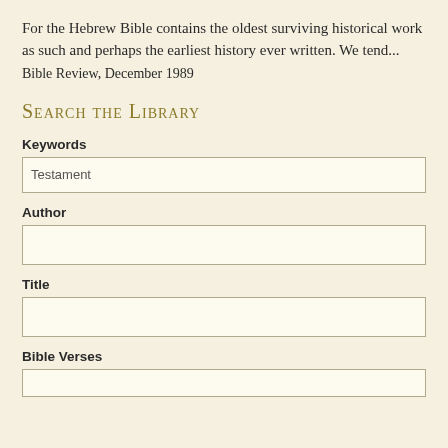For the Hebrew Bible contains the oldest surviving historical work as such and perhaps the earliest history ever written. We tend...
Bible Review, December 1989
Search the Library
Keywords
Testament
Author
Title
Bible Verses